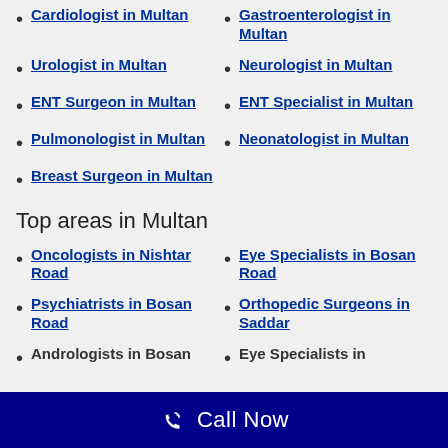Cardiologist in Multan
Gastroenterologist in Multan
Urologist in Multan
Neurologist in Multan
ENT Surgeon in Multan
ENT Specialist in Multan
Pulmonologist in Multan
Neonatologist in Multan
Breast Surgeon in Multan
Top areas in Multan
Oncologists in Nishtar Road
Eye Specialists in Bosan Road
Psychiatrists in Bosan Road
Orthopedic Surgeons in Saddar
Andrologists in Bosan
Eye Specialists in